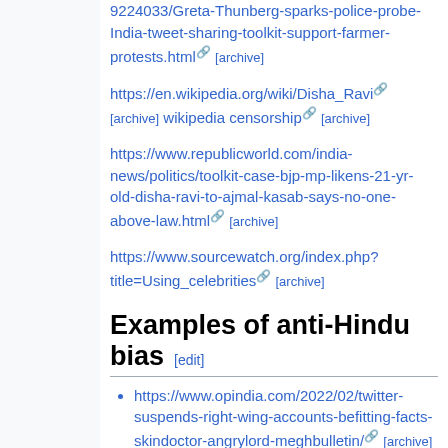9224033/Greta-Thunberg-sparks-police-probe-India-tweet-sharing-toolkit-support-farmer-protests.html [archive]
https://en.wikipedia.org/wiki/Disha_Ravi [archive] wikipedia censorship [archive]
https://www.republicworld.com/india-news/politics/toolkit-case-bjp-mp-likens-21-yr-old-disha-ravi-to-ajmal-kasab-says-no-one-above-law.html [archive]
https://www.sourcewatch.org/index.php?title=Using_celebrities [archive]
Examples of anti-Hindu bias [edit]
https://www.opindia.com/2022/02/twitter-suspends-right-wing-accounts-befitting-facts-skindoctor-angrylord-meghbulletin/ [archive]